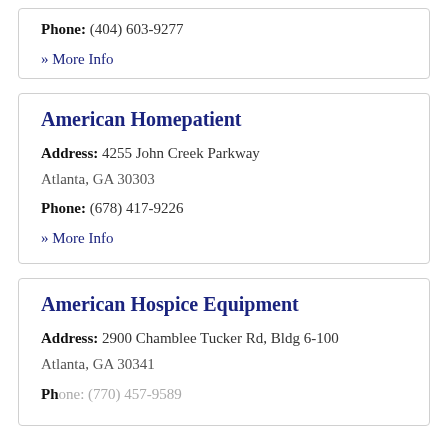Phone: (404) 603-9277
» More Info
American Homepatient
Address: 4255 John Creek Parkway
Atlanta, GA 30303
Phone: (678) 417-9226
» More Info
American Hospice Equipment
Address: 2900 Chamblee Tucker Rd, Bldg 6-100
Atlanta, GA 30341
Phone: (770) 457-9589